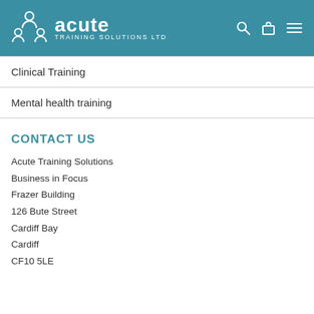Acute Training Solutions Ltd
Clinical Training
Mental health training
CONTACT US
Acute Training Solutions
Business in Focus
Frazer Building
126 Bute Street
Cardiff Bay
Cardiff
CF10 5LE